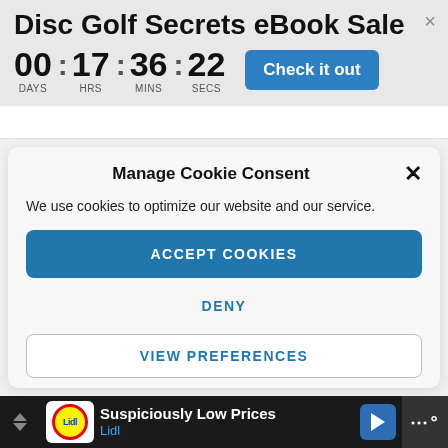Disc Golf Secrets eBook Sale
00 : 17 : 36 : 22
DAYS HRS MINS SECS
Check it out
Manage Cookie Consent
We use cookies to optimize our website and our service.
ACCEPT COOKIES
DENY
VIEW PREFERENCES
Suspiciously Low Prices
Lidl